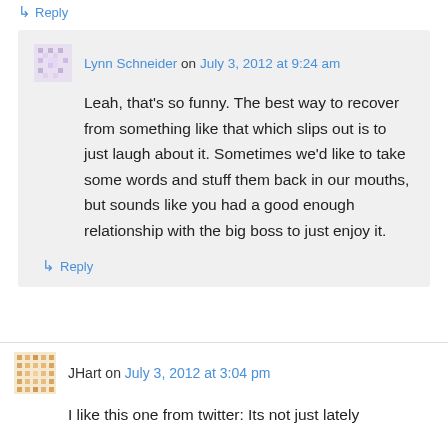↳ Reply
Lynn Schneider on July 3, 2012 at 9:24 am
Leah, that's so funny. The best way to recover from something like that which slips out is to just laugh about it. Sometimes we'd like to take some words and stuff them back in our mouths, but sounds like you had a good enough relationship with the big boss to just enjoy it.
↳ Reply
JHart on July 3, 2012 at 3:04 pm
I like this one from twitter: Its not just lately